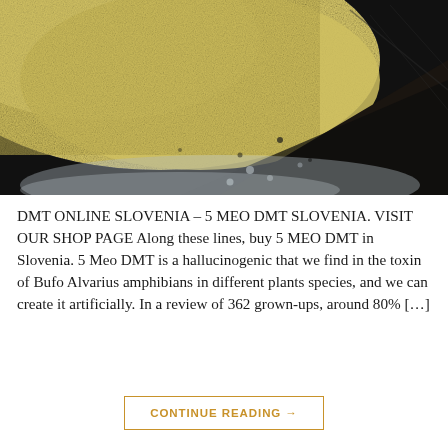[Figure (photo): Close-up macro photograph showing yellowish-white crystalline or granular powder substance against a dark background with some reflective plastic or foil surface visible.]
DMT ONLINE SLOVENIA – 5 MEO DMT SLOVENIA. VISIT OUR SHOP PAGE Along these lines, buy 5 MEO DMT in Slovenia. 5 Meo DMT is a hallucinogenic that we find in the toxin of Bufo Alvarius amphibians in different plants species, and we can create it artificially. In a review of 362 grown-ups, around 80% […]
CONTINUE READING →